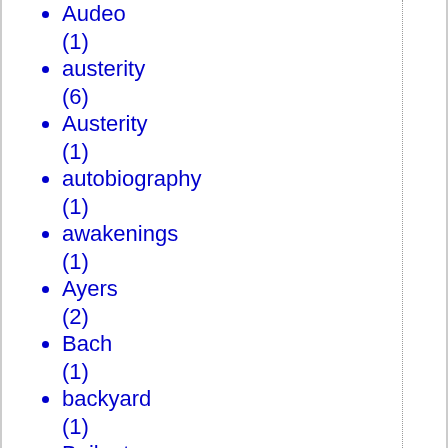Audeo (1)
austerity (6)
Austerity (1)
autobiography (1)
awakenings (1)
Ayers (2)
Bach (1)
backyard (1)
Bailout (4)
Ballad of the White Horse (1)
Bank